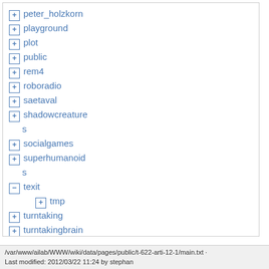+ peter_holzkorn
+ playground
+ plot
+ public
+ rem4
+ roboradio
+ saetaval
+ shadowcreature s
+ socialgames
+ superhumanoid s
- texit
+ tmp
+ turntaking
+ turntakingbrain
+ wiki
/var/www/ailab/WWW/wiki/data/pages/public/t-622-arti-12-1/main.txt · Last modified: 2012/03/22 11:24 by stephan